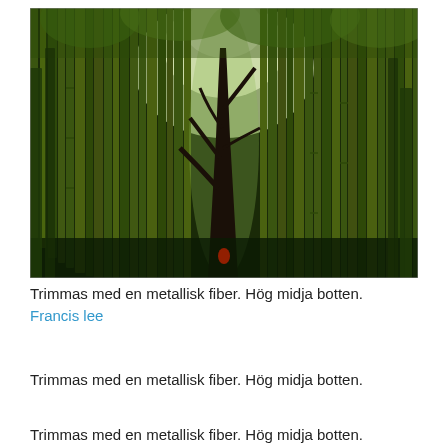[Figure (photo): A bamboo forest viewed from below looking upward, with tall dense bamboo stalks and a dark tree trunk in the center, green canopy visible at the top with light filtering through.]
Trimmas med en metallisk fiber. Hög midja botten.
Francis lee
Trimmas med en metallisk fiber. Hög midja botten.
Trimmas med en metallisk fiber. Hög midja botten.